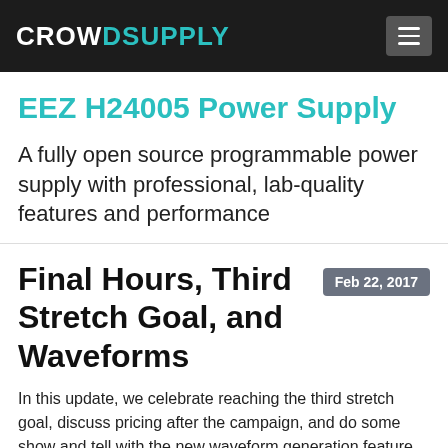CROWD SUPPLY
EEZ H24005 Power Supply
A fully open source programmable power supply with professional, lab-quality features and performance
Final Hours, Third Stretch Goal, and Waveforms
Feb 22, 2017
In this update, we celebrate reaching the third stretch goal, discuss pricing after the campaign, and do some show and tell with the new waveform generation feature.
Third Stretch Goal Reached!